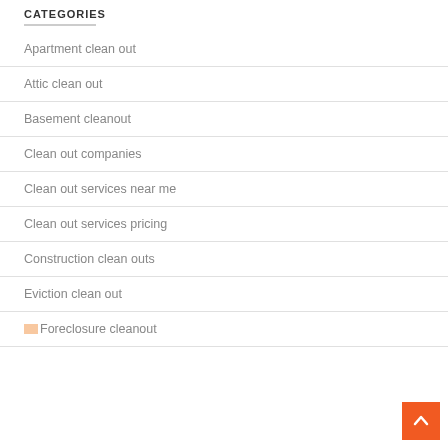CATEGORIES
Apartment clean out
Attic clean out
Basement cleanout
Clean out companies
Clean out services near me
Clean out services pricing
Construction clean outs
Eviction clean out
Foreclosure cleanout